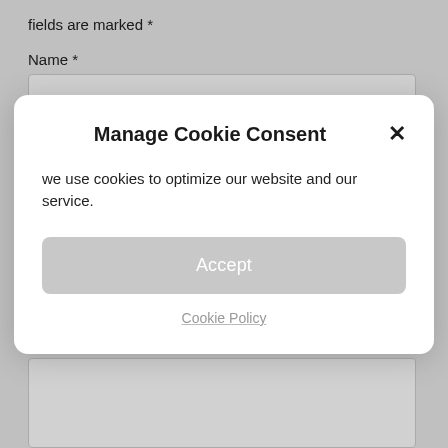fields are marked *
Name *
[Figure (screenshot): Empty text input box for Name field]
Manage Cookie Consent
we use cookies to optimize our website and our service.
Accept
Cookie Policy
Comment
[Figure (screenshot): Empty textarea for Comment field]